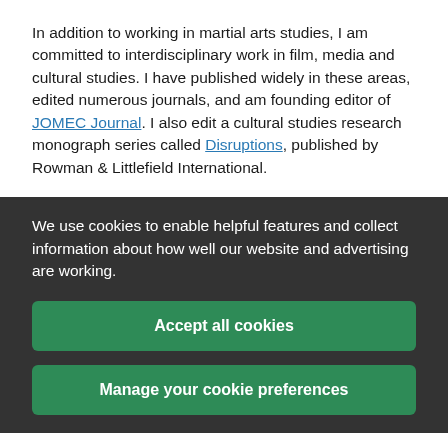In addition to working in martial arts studies, I am committed to interdisciplinary work in film, media and cultural studies. I have published widely in these areas, edited numerous journals, and am founding editor of JOMEC Journal. I also edit a cultural studies research monograph series called Disruptions, published by Rowman & Littlefield International.
We use cookies to enable helpful features and collect information about how well our website and advertising are working.
Accept all cookies
Manage your cookie preferences